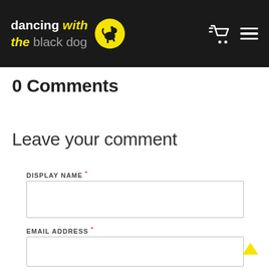dancing with the black dog
0 Comments
Leave your comment
DISPLAY NAME *
EMAIL ADDRESS *